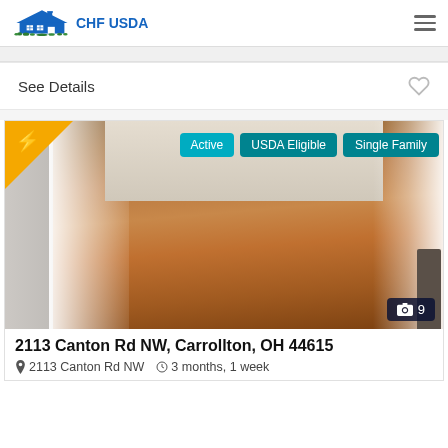[Figure (logo): CHF USDA logo with house icon and grass]
See Details
[Figure (photo): Interior room photo with hardwood floors and white curtains. Overlaid badges: Active, USDA Eligible, Single Family. Lightning bolt corner badge. Photo count: 9.]
2113 Canton Rd NW, Carrollton, OH 44615
2113 Canton Rd NW   3 months, 1 week